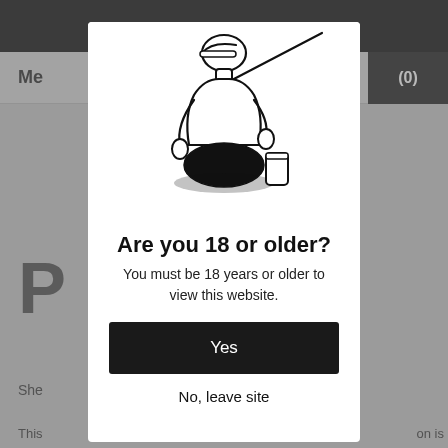[Figure (screenshot): Background webpage partially visible behind an age verification modal overlay. Shows a dark top navigation bar, a grey content area with partial text 'Me', '(0)', 'P', 'She', 'This', 'coll', 'from', 'on is', 'ase'.]
[Figure (illustration): Black and white line drawing of a person seen from behind, wearing a baseball cap, sitting and holding a fishing rod. A small can/cup is placed beside them.]
Are you 18 or older?
You must be 18 years or older to view this website.
Yes
No, leave site